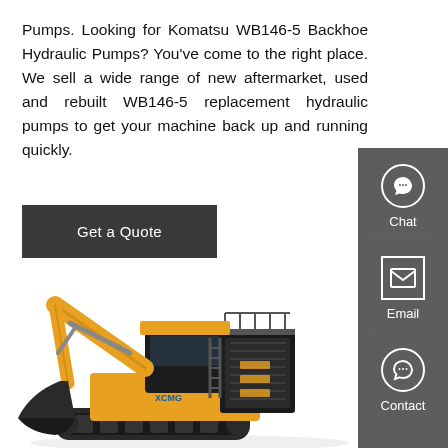Pumps. Looking for Komatsu WB146-5 Backhoe Hydraulic Pumps? You've come to the right place. We sell a wide range of new aftermarket, used and rebuilt WB146-5 replacement hydraulic pumps to get your machine back up and running quickly.
Get a Quote
[Figure (photo): Large yellow mining excavator/backhoe machine (XCMG brand) with black cab and hydraulic arm, shown on white background]
[Figure (infographic): Dark grey sidebar with three contact options: Chat (headset icon), Email (envelope icon), Contact (speech bubble icon), separated by red dividers]